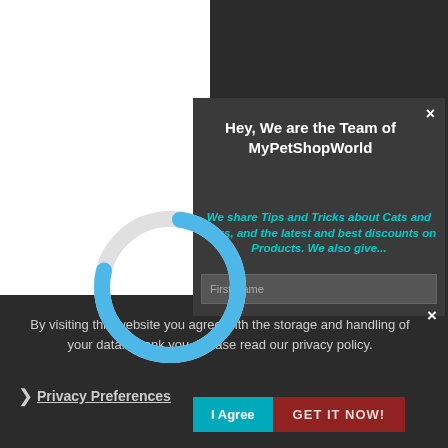[Figure (screenshot): A website popup/modal overlay showing two overlapping UI elements: 1) A dark modal popup in the upper right with title 'Hey, We are the Team of MyPetShopWorld', cyan italic text about sharing Tips and Tricks about Cats and Dogs and discounts on Products, a First Name input field, a close X button, and a circular loading/logo graphic partially overlapping the modal. 2) A cookie consent bar at the bottom with text about privacy policy, a Privacy Preferences link with arrow, an 'I Agree' teal button, and a 'GET IT NOW' dark red button. A close X is also visible on the cookie bar. The background is dark gray/charcoal. Upper left area is white.]
Hey, We are the Team of MyPetShopWorld
We share Tips and Tricks about Cats and Dogs, and the latest and best discounts on Products. We also give...
By visiting this website you agree with the storage and handling of your data. Thank you. Please read our privacy policy.
Privacy Preferences
I Agree
GET IT NOW!